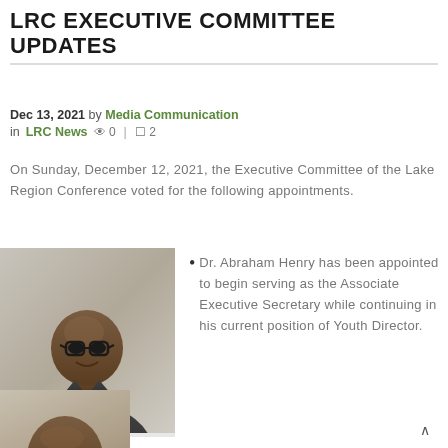LRC EXECUTIVE COMMITTEE UPDATES
Dec 13, 2021 by Media Communication in LRC News  0  |  2
On Sunday, December 12, 2021, the Executive Committee of the Lake Region Conference voted for the following appointments.
[Figure (photo): Portrait photo of Dr. Abraham Henry, a bald man wearing glasses and a dark suit jacket with a white shirt, smiling]
Dr. Abraham Henry has been appointed to begin serving as the Associate Executive Secretary while continuing in his current position of Youth Director.
[Figure (photo): Partial portrait photo of a second person, only the top of the head visible at the bottom of the page]